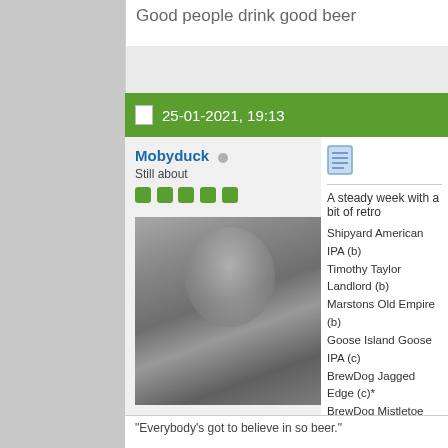Good people drink good beer
25-01-2021, 19:13
Mobyduck
Still about
[Figure (photo): Black and white portrait photo of a person with wild hair]
Join Date: Aug 2010
Location: Out saving pubs and enjoying it.
Posts: 5,215
[Figure (other): Document/post icon]
A steady week with a bit of retro
Shipyard American IPA (b)
Timothy Taylor Landlord (b)
Marstons Old Empire (b)
Goose Island Goose IPA (c)
BrewDog Jagged Edge (c)*
BrewDog Mistletoe Mafia (c)
Northern Monk New World (c)*
Salt Crash (c)*
Vocation/Marble Hop Skip & Jui
Five Points JUPA (c)*
Magic Rock Dark Arts (c)*
BOTW Salt Crash.
"Everybody's got to believe in so beer."